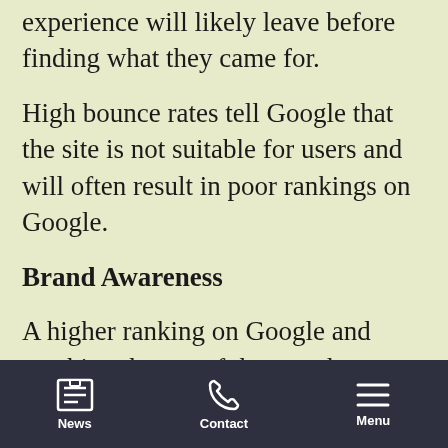experience will likely leave before finding what they came for.
High bounce rates tell Google that the site is not suitable for users and will often result in poor rankings on Google.
Brand Awareness
A higher ranking on Google and reaching the top of the search
News  Contact  Menu